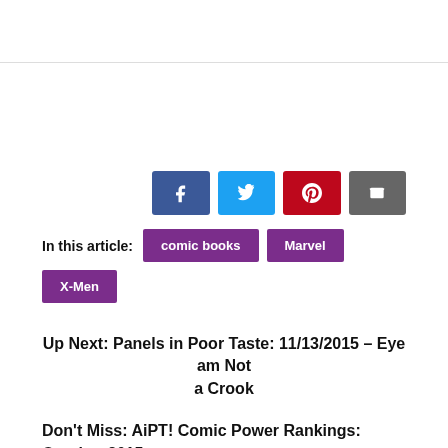[Figure (infographic): Row of social share buttons: Facebook (blue), Twitter (light blue), Pinterest (red), Email (gray)]
In this article: comic books  Marvel  X-Men
Up Next: Panels in Poor Taste: 11/13/2015 – Eye am Not a Crook
Don't Miss: AiPT! Comic Power Rankings: October 2015